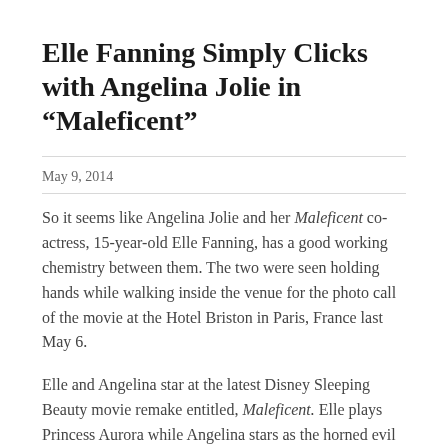Elle Fanning Simply Clicks with Angelina Jolie in “Maleficent”
May 9, 2014
So it seems like Angelina Jolie and her Maleficent co-actress, 15-year-old Elle Fanning, has a good working chemistry between them. The two were seen holding hands while walking inside the venue for the photo call of the movie at the Hotel Briston in Paris, France last May 6.
Elle and Angelina star at the latest Disney Sleeping Beauty movie remake entitled, Maleficent. Elle plays Princess Aurora while Angelina stars as the horned evil fairy.